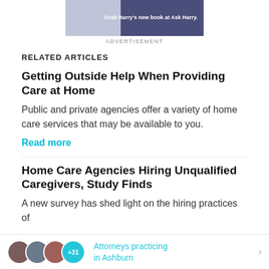[Figure (other): Advertisement banner image with light purple and dark purple sections, text 'Grab Harry's new book at Ask Harry.']
ADVERTISEMENT
RELATED ARTICLES
Getting Outside Help When Providing Care at Home
Public and private agencies offer a variety of home care services that may be available to you.
Read more
Home Care Agencies Hiring Unqualified Caregivers, Study Finds
A new survey has shed light on the hiring practices of
Attorneys practicing in Ashburn